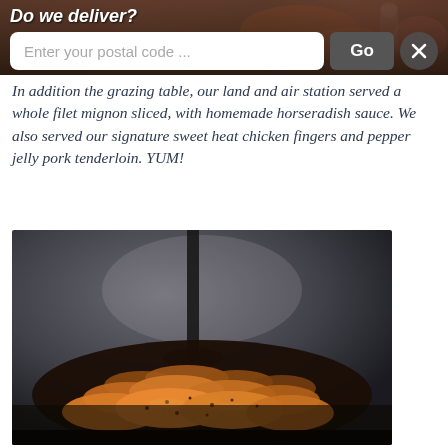[Figure (photo): Top banner photo showing food/catering scene, partially obscured by UI overlay]
Do we deliver?
[Figure (screenshot): Delivery postal code input UI with text field 'Enter your postal code ...', a 'Go' button, and a close (X) button]
In addition the grazing table, our land and air station served a whole filet mignon sliced, with homemade horseradish sauce. We also served our signature sweet heat chicken fingers and pepper jelly pork tenderloin. YUM!
[Figure (photo): Close-up photo of glazed/seasoned chicken fingers or meat pieces on a dark surface]